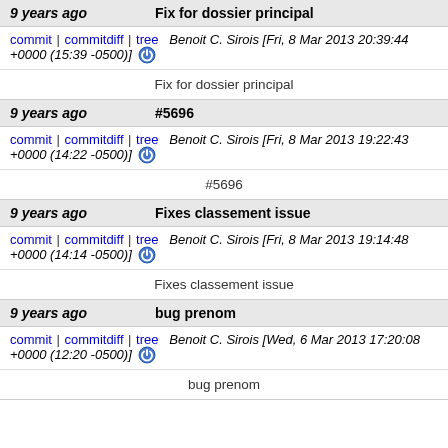9 years ago   Fix for dossier principal
commit | commitdiff | tree   Benoit C. Sirois [Fri, 8 Mar 2013 20:39:44 +0000 (15:39 -0500)]
Fix for dossier principal
9 years ago   #5696
commit | commitdiff | tree   Benoit C. Sirois [Fri, 8 Mar 2013 19:22:43 +0000 (14:22 -0500)]
#5696
9 years ago   Fixes classement issue
commit | commitdiff | tree   Benoit C. Sirois [Fri, 8 Mar 2013 19:14:48 +0000 (14:14 -0500)]
Fixes classement issue
9 years ago   bug prenom
commit | commitdiff | tree   Benoit C. Sirois [Wed, 6 Mar 2013 17:20:08 +0000 (12:20 -0500)]
bug prenom